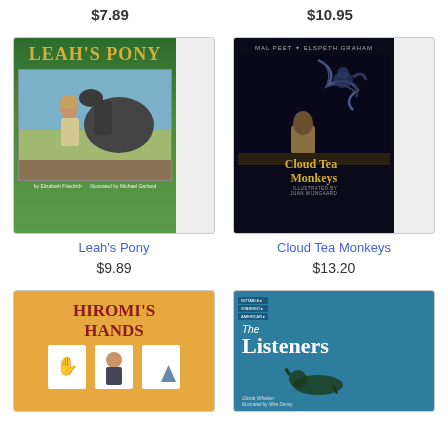$7.89
$10.95
[Figure (photo): Book cover: Leah's Pony - green cover with photo of a girl with a horse, by Elizabeth Friedrich, illustrated by Michael Garland]
[Figure (photo): Book cover: Cloud Tea Monkeys - dark night sky cover with smoke-like monkeys, by Mal Peet and Elspeth Graham, illustrated by Juan Wijngaard]
Leah's Pony
Cloud Tea Monkeys
$9.89
$13.20
[Figure (photo): Book cover: Hiromi's Hands - orange cover with title text and illustrations]
[Figure (photo): Book cover: The Listeners - teal/blue cover with dog silhouette, by Gloria Whelan, illustrated by Mike Denny]